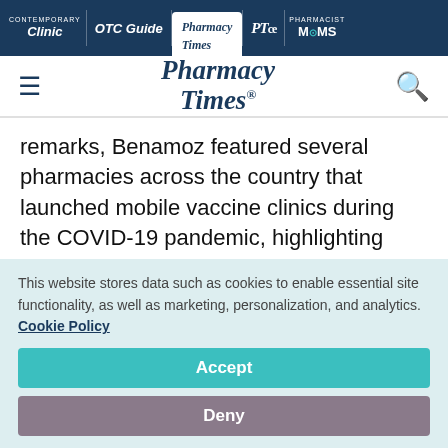Contemporary Clinic | OTC Guide | Pharmacy Times | PTce | Pharmacist MOMS
[Figure (logo): Pharmacy Times logo with hamburger menu and search icon]
remarks, Benamoz featured several pharmacies across the country that launched mobile vaccine clinics during the COVID-19 pandemic, highlighting how these outside-the-box efforts can expand the reach and scope of pharmacy
This website stores data such as cookies to enable essential site functionality, as well as marketing, personalization, and analytics. Cookie Policy
Accept
Deny